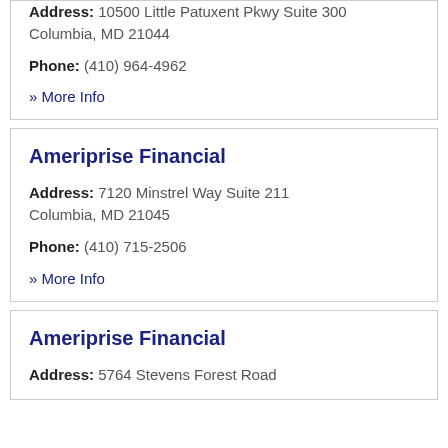Address: 10500 Little Patuxent Pkwy Suite 300
Columbia, MD 21044
Phone: (410) 964-4962
» More Info
Ameriprise Financial
Address: 7120 Minstrel Way Suite 211
Columbia, MD 21045
Phone: (410) 715-2506
» More Info
Ameriprise Financial
Address: 5764 Stevens Forest Road